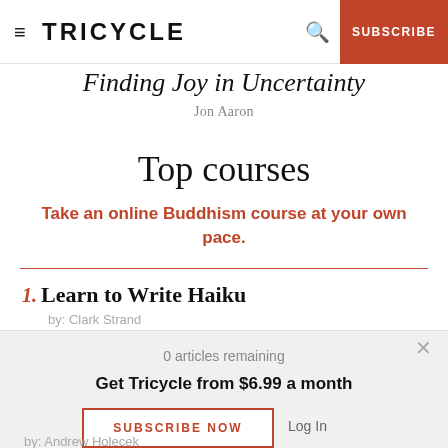TRICYCLE | SUBSCRIBE
Finding Joy in Uncertainty
Jon Aaron
Top courses
Take an online Buddhism course at your own pace.
1. Learn to Write Haiku by: Clark Strand
0 articles remaining
Get Tricycle from $6.99 a month
SUBSCRIBE NOW  Log In
by: Andrew Holecek